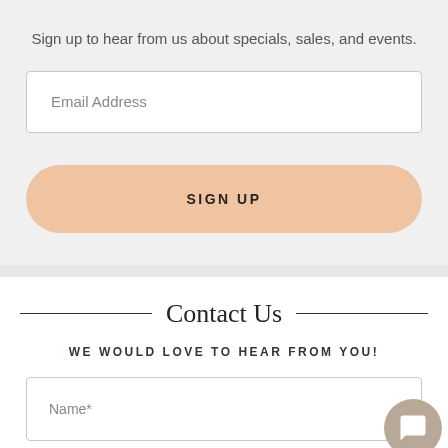Sign up to hear from us about specials, sales, and events.
Email Address
SIGN UP
Contact Us
WE WOULD LOVE TO HEAR FROM YOU!
Name*